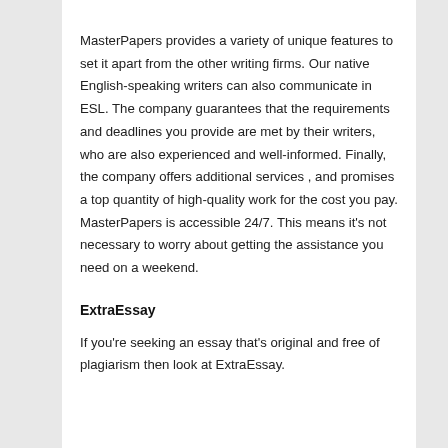MasterPapers provides a variety of unique features to set it apart from the other writing firms. Our native English-speaking writers can also communicate in ESL. The company guarantees that the requirements and deadlines you provide are met by their writers, who are also experienced and well-informed. Finally, the company offers additional services , and promises a top quantity of high-quality work for the cost you pay. MasterPapers is accessible 24/7. This means it's not necessary to worry about getting the assistance you need on a weekend.
ExtraEssay
If you're seeking an essay that's original and free of plagiarism then look at ExtraEssay.